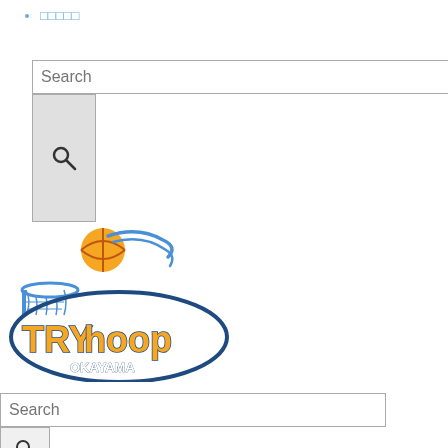□□□□□
Search (input box)
[Figure (other): Search button with magnifying glass icon]
[Figure (logo): TryHoop Okayama basketball team logo — orange and blue basketball with hoop and stylized text]
Search (input box)
[Figure (other): Search button with magnifying glass icon]
□□□
□□□□□
□□□□□□□□□□
□□□□□